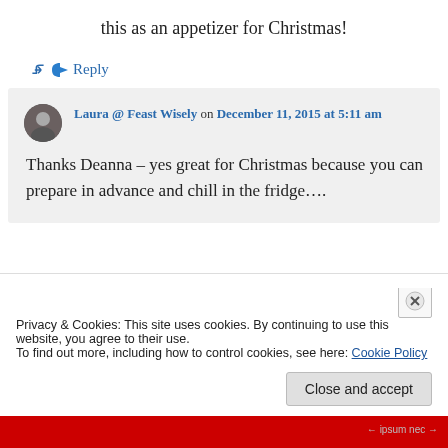this as an appetizer for Christmas!
↪ Reply
Laura @ Feast Wisely on December 11, 2015 at 5:11 am
Thanks Deanna – yes great for Christmas because you can prepare in advance and chill in the fridge….
Privacy & Cookies: This site uses cookies. By continuing to use this website, you agree to their use. To find out more, including how to control cookies, see here: Cookie Policy
Close and accept